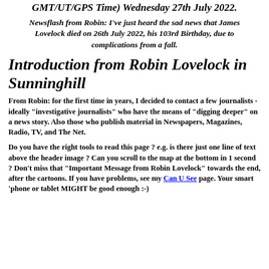GMT/UT/GPS Time) Wednesday 27th July 2022.
Newsflash from Robin: I've just heard the sad news that James Lovelock died on 26th July 2022, his 103rd Birthday, due to complications from a fall.
Introduction from Robin Lovelock in Sunninghill
From Robin: for the first time in years, I decided to contact a few journalists - ideally "investigative journalists" who have the means of "digging deeper" on a news story. Also those who publish material in Newspapers, Magazines, Radio, TV, and The Net.
Do you have the right tools to read this page ? e.g. is there just one line of text above the header image ? Can you scroll to the map at the bottom in 1 second ? Don't miss that "Important Message from Robin Lovelock" towards the end, after the cartoons. If you have problems, see my Can U See page. Your smart 'phone or tablet MIGHT be good enough :-)